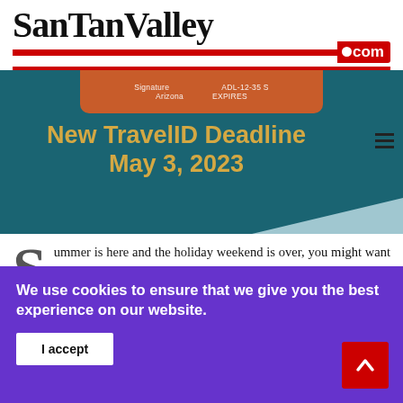SanTanValley.com
[Figure (screenshot): Hero banner image with teal background showing a New TravelID Deadline May 3, 2023 announcement with an orange card element and hamburger menu icon]
Summer is here and the holiday weekend is over, you might want to take the time to update your driver license or ID card to the Arizona Travel ID. The
We use cookies to ensure that we give you the best experience on our website.
I accept